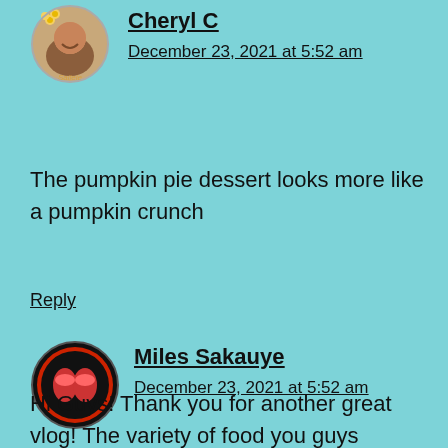[Figure (photo): Circular avatar photo of Cheryl C, a woman with a flower in her hair, smiling]
Cheryl C
December 23, 2021 at 5:52 am
The pumpkin pie dessert looks more like a pumpkin crunch
Reply
[Figure (photo): Circular avatar logo for Miles Sakauye, dark circular icon with red and pink design]
Miles Sakauye
December 23, 2021 at 5:52 am
Hi Guys! Thank you for another great vlog! The variety of food you guys selected all looked